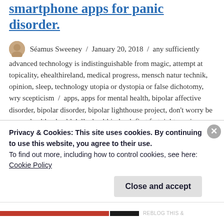smartphone apps for panic disorder.
Séamus Sweeney / January 20, 2018 / any sufficiently advanced technology is indistinguishable from magic, attempt at topicality, ehealthireland, medical progress, mensch natur technik, opinion, sleep, technology utopia or dystopia or false dichotomy, wry scepticism / apps, apps for mental health, bipolar affective disorder, bipolar disorder, bipolar lighthouse project, don't worry be appy, ehealth, ehealth4all, ehealthireland, first fortnight, gavin doherty, health, health technology, healthcare, healthcare apps, healthcare technology, irish times, lighthouse project, mac suibhne,
Privacy & Cookies: This site uses cookies. By continuing to use this website, you agree to their use.
To find out more, including how to control cookies, see here:
Cookie Policy
Close and accept